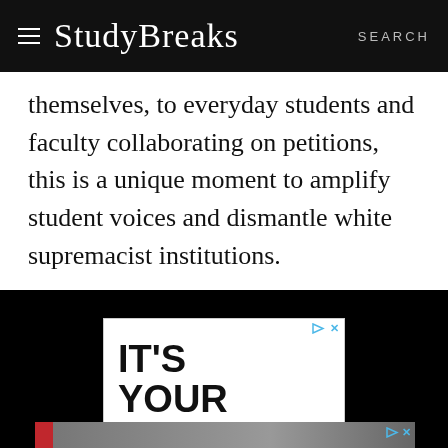Study Breaks | SEARCH
themselves, to everyday students and faculty collaborating on petitions, this is a unique moment to amplify student voices and dismantle white supremacist institutions.
[Figure (infographic): Advertisement: IT'S YOUR MOVE. Preview Homes]
[Figure (photo): Bottom photo strip with advertisement badge]